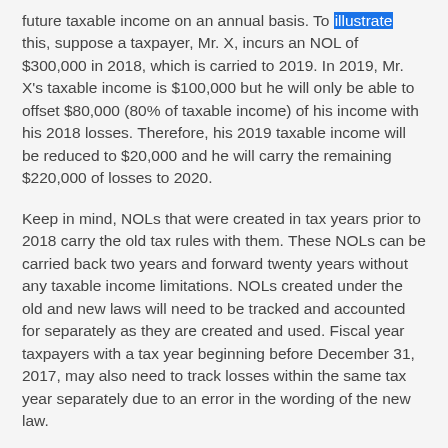future taxable income on an annual basis. To illustrate this, suppose a taxpayer, Mr. X, incurs an NOL of $300,000 in 2018, which is carried to 2019. In 2019, Mr. X's taxable income is $100,000 but he will only be able to offset $80,000 (80% of taxable income) of his income with his 2018 losses. Therefore, his 2019 taxable income will be reduced to $20,000 and he will carry the remaining $220,000 of losses to 2020.
Keep in mind, NOLs that were created in tax years prior to 2018 carry the old tax rules with them. These NOLs can be carried back two years and forward twenty years without any taxable income limitations. NOLs created under the old and new laws will need to be tracked and accounted for separately as they are created and used. Fiscal year taxpayers with a tax year beginning before December 31, 2017, may also need to track losses within the same tax year separately due to an error in the wording of the new law.